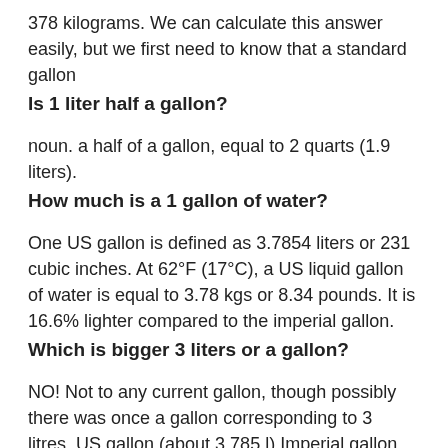378 kilograms. We can calculate this answer easily, but we first need to know that a standard gallon
Is 1 liter half a gallon?
noun. a half of a gallon, equal to 2 quarts (1.9 liters).
How much is a 1 gallon of water?
One US gallon is defined as 3.7854 liters or 231 cubic inches. At 62°F (17°C), a US liquid gallon of water is equal to 3.78 kgs or 8.34 pounds. It is 16.6% lighter compared to the imperial gallon.
Which is bigger 3 liters or a gallon?
NO! Not to any current gallon, though possibly there was once a gallon corresponding to 3 litres. US gallon (about 3.785 l) Imperial gallon (4.546 l).
Is a 2 liter bigger than a gallon?